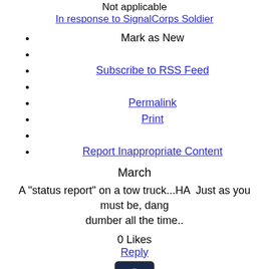Not applicable
In response to SignalCorps Soldier
Mark as New
Subscribe to RSS Feed
Permalink
Print
Report Inappropriate Content
March
A "status report" on a tow truck...HA  Just as you must be, dang dumb all the time..
0 Likes
Reply
[Figure (logo): USAA avatar icon with dark navy background and person silhouette, USAA text at bottom]
Moderator  USAA Social Service
USAA Service
In response to Anonymous